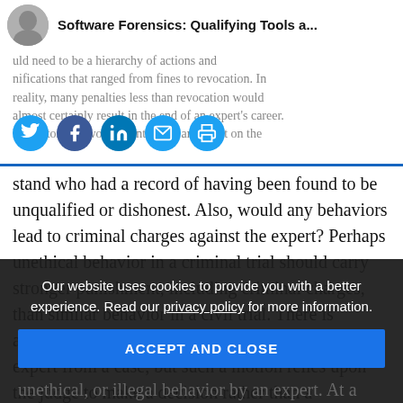Software Forensics: Qualifying Tools a...
[Figure (illustration): Social sharing icons: Twitter, Facebook, LinkedIn, Email, Print]
uld need to be a hierarchy of actions and nifications that ranged from fines to revocation. In reality, many penalties less than revocation would almost certainly result in the end of an expert's career. Few attorneys would want to put an expert on the stand who had a record of having been found to be unqualified or dishonest. Also, would any behaviors lead to criminal charges against the expert? Perhaps unethical behavior in a criminal trial should carry stronger punishment, including criminal charges, than similar behavior in a civil trial. There is already the Daubert motion that can exclude an expert from a case, but such a motion relies upon the judge to make a decision rather than a knowledgeable certification
Our website uses cookies to provide you with a better experience. Read our privacy policy for more information.
ACCEPT AND CLOSE
unethical, or illegal behavior by an expert. At a conference I once attended on digital forensics, a